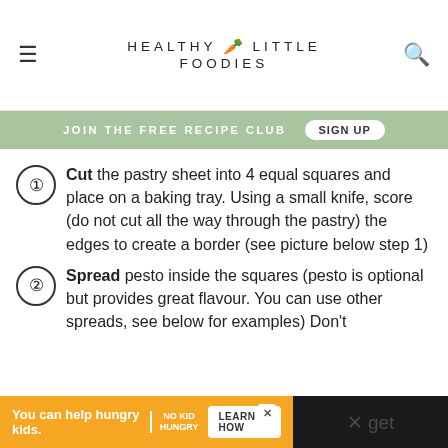HEALTHY LITTLE FOODIES
JOIN THE FREE RECIPE CLUB   SIGN UP
Cut the pastry sheet into 4 equal squares and place on a baking tray. Using a small knife, score (do not cut all the way through the pastry) the edges to create a border (see picture below step 1)
Spread pesto inside the squares (pesto is optional but provides great flavour. You can use other spreads, see below for examples) Don't
You can help hungry kids. NO KID HUNGRY LEARN HOW